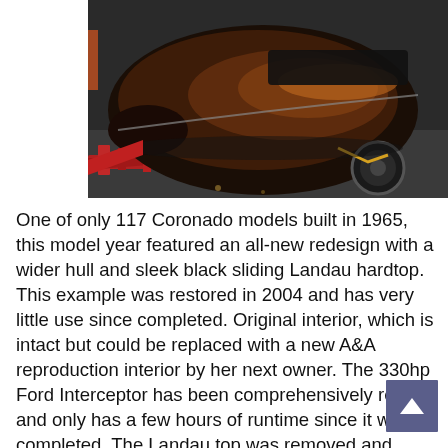[Figure (photo): A dark wooden-hulled boat on a red trailer, photographed from the front-left angle, sitting on an asphalt surface. The boat has a glossy dark finish with warm brown tones.]
One of only 117 Coronado models built in 1965, this model year featured an all-new redesign with a wider hull and sleek black sliding Landau hardtop. This example was restored in 2004 and has very little use since completed. Original interior, which is intact but could be replaced with a new A&A reproduction interior by her next owner. The 330hp Ford Interceptor has been comprehensively rebuilt and only has a few hours of runtime since it was completed. The Landau top was removed and restored, all chrome replated at a cost of $7,000, fuel tank cleaned and lined, replacement A&A deck